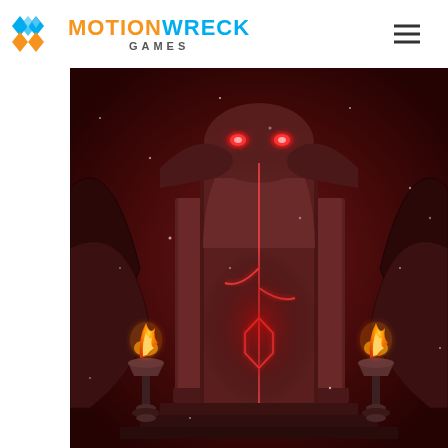[Figure (logo): MotionWreck Games logo with stylized M icon in orange and blue, text MOTION in orange, WRECK in blue, GAMES in gray below]
[Figure (screenshot): Dark fantasy game scene showing a stone altar/doorway with red glowing eyes at the top, red cracked energy lines running down the center, two flaming torch braziers on pedestals flanking the door, red/dark atmospheric lighting with particle effects]